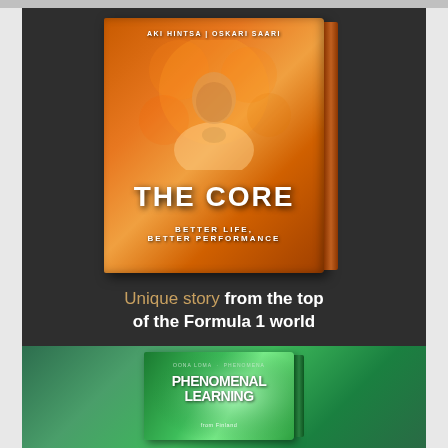[Figure (illustration): Dark-background promotional card showing the book 'The Core: Better Life, Better Performance' by Aki Hintsa and Oskari Saari with an orange-toned cover featuring an author portrait]
Unique story from the top of the Formula 1 world
[Figure (illustration): Green-background card showing the book 'Phenomenal Learning from Finland']